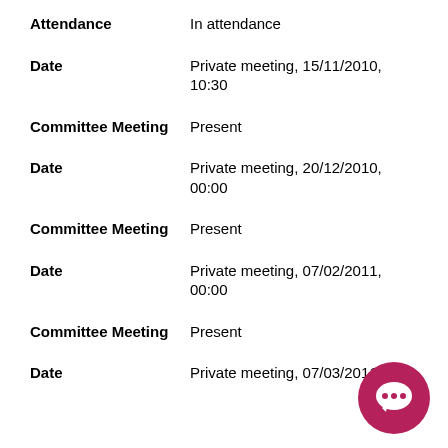Attendance   In attendance
Date   Private meeting, 15/11/2010, 10:30
Committee Meeting   Present
Date   Private meeting, 20/12/2010, 00:00
Committee Meeting   Present
Date   Private meeting, 07/02/2011, 00:00
Committee Meeting   Present
Date   Private meeting, 07/03/2011,